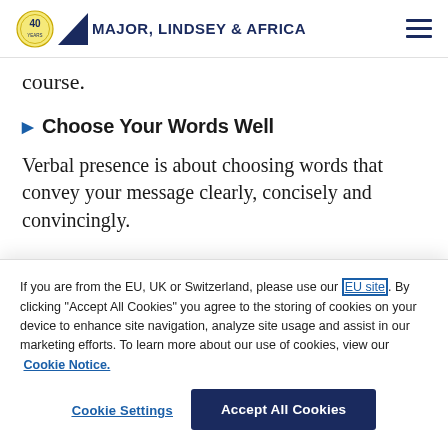Major, Lindsey & Africa
course.
Choose Your Words Well
Verbal presence is about choosing words that convey your message clearly, concisely and convincingly.
If you are from the EU, UK or Switzerland, please use our EU site. By clicking “Accept All Cookies” you agree to the storing of cookies on your device to enhance site navigation, analyze site usage and assist in our marketing efforts. To learn more about our use of cookies, view our Cookie Notice.
Cookie Settings
Accept All Cookies